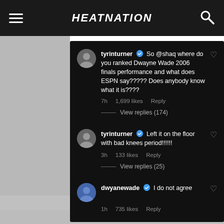HEATNATION
[Figure (screenshot): Instagram comment screenshot on dark background showing three comments from tyrinturner and dwyanewade]
tyrinturner ✓ So @shaq where do you ranked Dwayne Wade 2006 finals performance and what does ESPN say????? Does anybody know what it is???? — 7h  1,699 likes  Reply — View replies (174)
tyrinturner ✓ Left it on the floor with bad knees period!!!!!! — 3h  133 likes  Reply — View replies (25)
dwyanewade ✓ I do not agree — 1h  735 likes  Reply